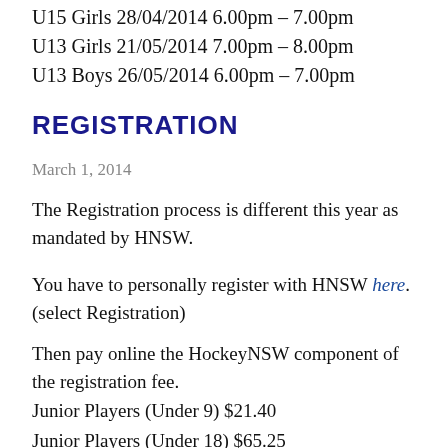U15 Girls 28/04/2014 6.00pm – 7.00pm
U13 Girls 21/05/2014 7.00pm – 8.00pm
U13 Boys 26/05/2014 6.00pm – 7.00pm
REGISTRATION
March 1, 2014
The Registration process is different this year as mandated by HNSW.
You have to personally register with HNSW here. (select Registration)
Then pay online the HockeyNSW component of the registration fee.
Junior Players (Under 9) $21.40
Junior Players (Under 18) $65.25